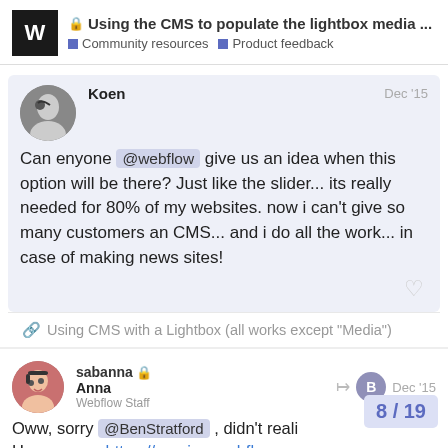Using the CMS to populate the lightbox media ... | Community resources | Product feedback
Koen Dec '15
Can enyone @webflow give us an idea when this option will be there? Just like the slider... its really needed for 80% of my websites. now i can't give so many customers an CMS... and i do all the work... in case of making news sites!
Using CMS with a Lightbox (all works except "Media")
sabanna Anna Webflow Staff Dec '15
Oww, sorry @BenStratford , didn't reali... Here we go: https://preview.webflow.co